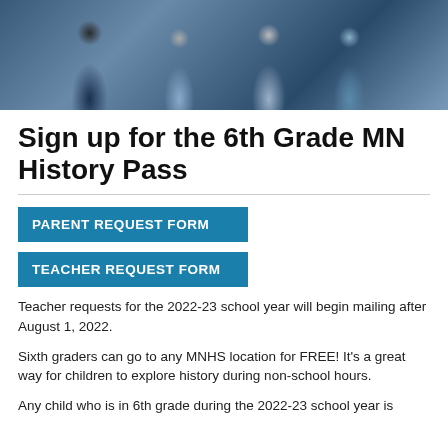[Figure (photo): Four children wearing helmets or trying on helmets in what appears to be a museum or activity center. One child is in a blue jacket, others in casual clothing.]
Sign up for the 6th Grade MN History Pass
PARENT REQUEST FORM
TEACHER REQUEST FORM
Teacher requests for the 2022-23 school year will begin mailing after August 1, 2022.
Sixth graders can go to any MNHS location for FREE! It's a great way for children to explore history during non-school hours.
Any child who is in 6th grade during the 2022-23 school year is